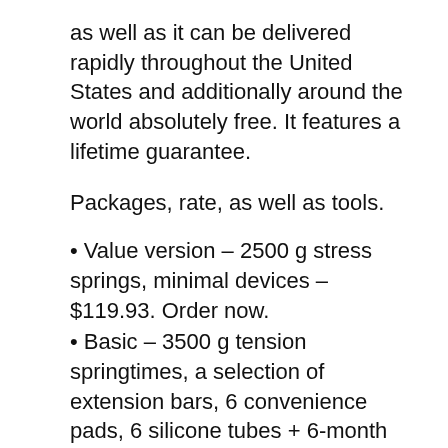as well as it can be delivered rapidly throughout the United States and additionally around the world absolutely free. It features a lifetime guarantee.
Packages, rate, as well as tools.
Value version – 2500 g stress springs, minimal devices – $119.93. Order now.
Basic – 3500 g tension springtimes, a selection of extension bars, 6 convenience pads, 6 silicone tubes + 6-month cash back assurance – $179.93. Order currently.
Deluxe – 4000 g force springtimes, wood case, 12 silicone tubes, 12 comfort pads, extra accessories, lifetime service warranty, clinical quality convenience pads, penis pump – $349.93. Order currently.